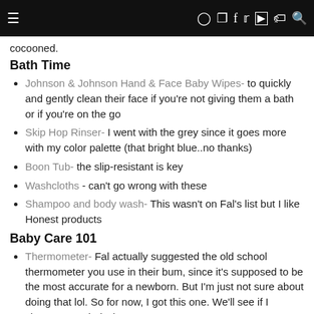≡ [social icons]
cocooned.
Bath Time
Johnson & Johnson Hand & Face Baby Wipes- to quickly and gently clean their face if you're not giving them a bath or if you're on the go
Skip Hop Rinser- I went with the grey since it goes more with my color palette (that bright blue..no thanks)
Boon Tub- the slip-resistant is key
Washcloths - can't go wrong with these
Shampoo and body wash- This wasn't on Fal's list but I like Honest products
Baby Care 101
Thermometer- Fal actually suggested the old school thermometer you use in their bum, since it's supposed to be the most accurate for a newborn. But I'm just not sure about doing that lol. So for now, I got this one. We'll see if I change my mind when